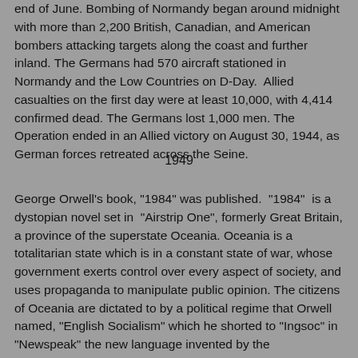end of June. Bombing of Normandy began around midnight with more than 2,200 British, Canadian, and American bombers attacking targets along the coast and further inland. The Germans had 570 aircraft stationed in Normandy and the Low Countries on D-Day.  Allied casualties on the first day were at least 10,000, with 4,414 confirmed dead. The Germans lost 1,000 men. The Operation ended in an Allied victory on August 30, 1944, as German forces retreated across the Seine.
1949
George Orwell's book, "1984" was published.  "1984"  is a dystopian novel set in  "Airstrip One", formerly Great Britain, a province of the superstate Oceania. Oceania is a totalitarian state which is in a constant state of war, whose government exerts control over every aspect of society, and uses propaganda to manipulate public opinion. The citizens of Oceania are dictated to by a political regime that Orwell named, "English Socialism" which he shorted to "Ingsoc" in "Newspeak" the new language invented by the Government.